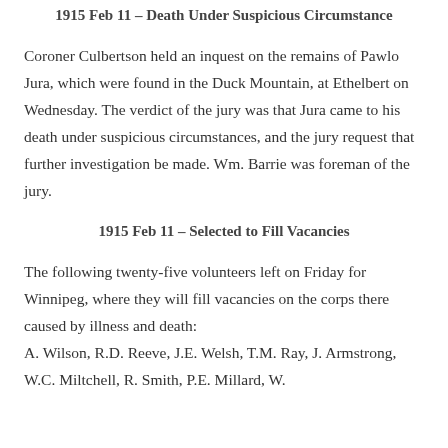1915 Feb 11 – Death Under Suspicious Circumstance
Coroner Culbertson held an inquest on the remains of Pawlo Jura, which were found in the Duck Mountain, at Ethelbert on Wednesday. The verdict of the jury was that Jura came to his death under suspicious circumstances, and the jury request that further investigation be made. Wm. Barrie was foreman of the jury.
1915 Feb 11 – Selected to Fill Vacancies
The following twenty-five volunteers left on Friday for Winnipeg, where they will fill vacancies on the corps there caused by illness and death: A. Wilson, R.D. Reeve, J.E. Welsh, T.M. Ray, J. Armstrong, W.C. Miltchell, R. Smith, P.E. Millard, W.